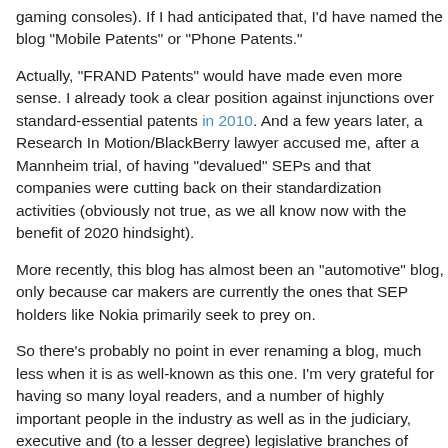gaming consoles). If I had anticipated that, I'd have named the blog "Mobile Patents" or "Phone Patents."
Actually, "FRAND Patents" would have made even more sense. I already took a clear position against injunctions over standard-essential patents in 2010. And a few years later, a Research In Motion/BlackBerry lawyer accused me, after a Mannheim trial, of having "devalued" SEPs and that companies were cutting back on their standardization activities (obviously not true, as we all know now with the benefit of 2020 hindsight).
More recently, this blog has almost been an "automotive" blog, only because car makers are currently the ones that SEP holders like Nokia primarily seek to prey on.
So there's probably no point in ever renaming a blog, much less when it is as well-known as this one. I'm very grateful for having so many loyal readers, and a number of highly important people in the industry as well as in the judiciary, executive and (to a lesser degree) legislative branches of government. I really am.